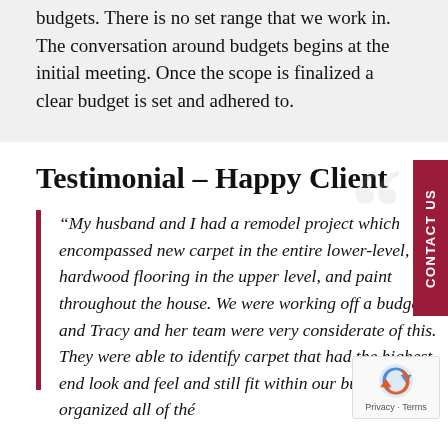budgets. There is no set range that we work in. The conversation around budgets begins at the initial meeting. Once the scope is finalized a clear budget is set and adhered to.
Testimonial – Happy Client
“My husband and I had a remodel project which encompassed new carpet in the entire lower-level, new hardwood flooring in the upper level, and paint throughout the house. We were working off a budget and Tracy and her team were very considerate of this. They were able to identify carpet that had the highest end look and feel and still fit within our budget. They organized all of th…